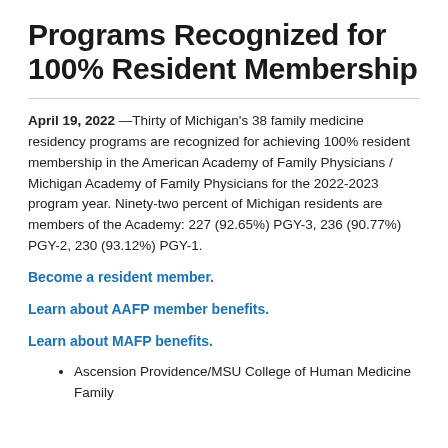Programs Recognized for 100% Resident Membership
April 19, 2022 —Thirty of Michigan's 38 family medicine residency programs are recognized for achieving 100% resident membership in the American Academy of Family Physicians / Michigan Academy of Family Physicians for the 2022-2023 program year. Ninety-two percent of Michigan residents are members of the Academy: 227 (92.65%) PGY-3, 236 (90.77%) PGY-2, 230 (93.12%) PGY-1.
Become a resident member.
Learn about AAFP member benefits.
Learn about MAFP benefits.
Ascension Providence/MSU College of Human Medicine Family